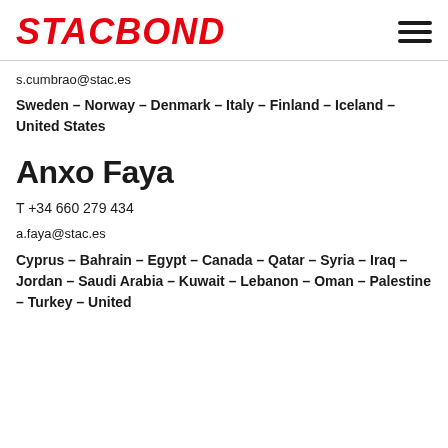STACBOND
s.cumbrao@stac.es
Sweden – Norway – Denmark – Italy – Finland – Iceland – United States
Anxo Faya
T +34 660 279 434
a.faya@stac.es
Cyprus – Bahrain – Egypt – Canada – Qatar – Syria – Iraq – Jordan – Saudi Arabia – Kuwait – Lebanon – Oman – Palestine – Turkey – United